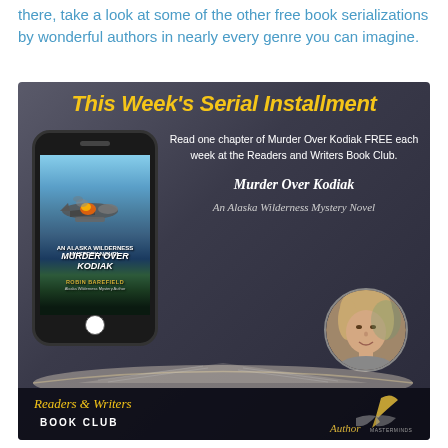there, take a look at some of the other free book serializations by wonderful authors in nearly every genre you can imagine.
[Figure (infographic): Promotional banner for 'This Week's Serial Installment' featuring Murder Over Kodiak by Robin Barefield. Shows a smartphone with the book cover displayed, text about reading one chapter free each week at the Readers and Writers Book Club, book title and subtitle in italic, author photo, and logos for Readers & Writers Book Club and Author Masterminds at the bottom.]